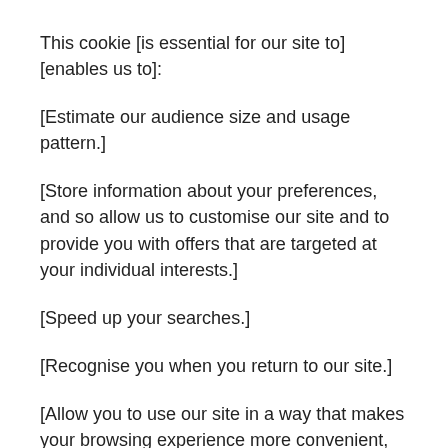This cookie [is essential for our site to][enables us to]:
[Estimate our audience size and usage pattern.]
[Store information about your preferences, and so allow us to customise our site and to provide you with offers that are targeted at your individual interests.]
[Speed up your searches.]
[Recognise you when you return to our site.]
[Allow you to use our site in a way that makes your browsing experience more convenient, for example, by allowing you to store items in an electronic shopping basket between visits. If you register with us or complete our online forms, we will use cookies to remember your details during your current visit, and any